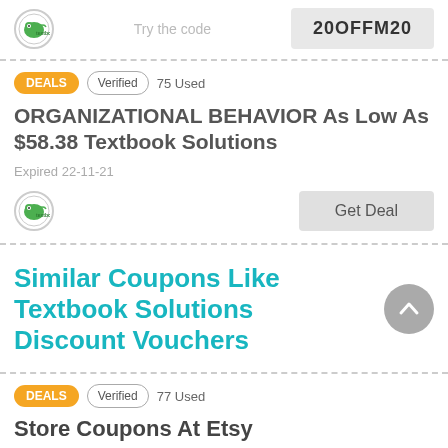[Figure (logo): Textbook Solutions logo - chameleon icon with green text]
Try the code
20OFFM20
DEALS   Verified   75 Used
ORGANIZATIONAL BEHAVIOR As Low As $58.38 Textbook Solutions
Expired 22-11-21
[Figure (logo): Textbook Solutions logo]
Get Deal
Similar Coupons Like Textbook Solutions Discount Vouchers
DEALS   Verified   77 Used
Store Coupons At Etsy